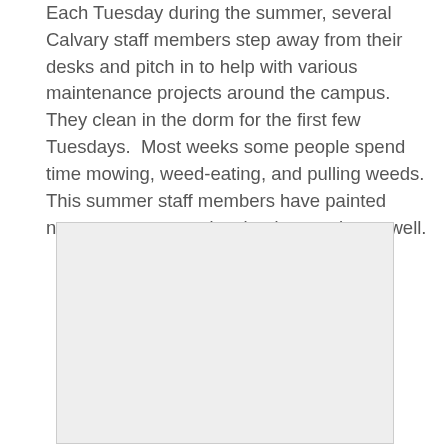Each Tuesday during the summer, several Calvary staff members step away from their desks and pitch in to help with various maintenance projects around the campus.  They clean in the dorm for the first few Tuesdays.  Most weeks some people spend time mowing, weed-eating, and pulling weeds.  This summer staff members have painted numerous spots and stained a gazebo as well.
[Figure (photo): A placeholder image area, light gray rectangle representing a photo not yet loaded or visible.]